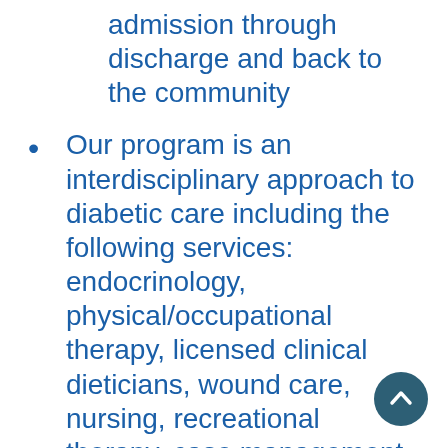admission through discharge and back to the community
Our program is an interdisciplinary approach to diabetic care including the following services: endocrinology, physical/occupational therapy, licensed clinical dieticians, wound care, nursing, recreational therapy, case management, physiatry, and psychological services
Each patient receives an individualized plan of care to